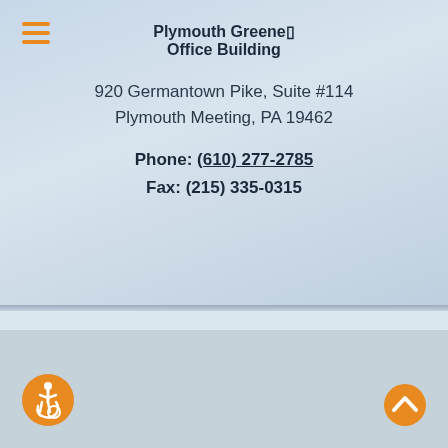Plymouth Greene■ Office Building
920 Germantown Pike, Suite #114
Plymouth Meeting, PA 19462
Phone: (610) 277-2785
Fax: (215) 335-0315
Copyright © 2022 · Philadelphia Retina Associates · All Rights Reserved
[Figure (logo): iHealthSpot Interactive logo with tagline: Medical Website Design and Medical Marketing by iHealthSpot.com]
[Figure (illustration): Orange circle accessibility icon with wheelchair user symbol]
[Figure (illustration): Orange circle with white upward chevron arrow (back to top button)]